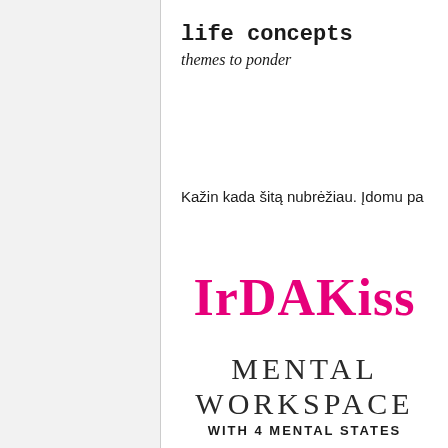life concepts
themes to ponder
Kažin kada šitą nubrėžiau. Įdomu pa
IrDAKiss
MENTAL WORKSPACE
WITH 4 MENTAL STATES